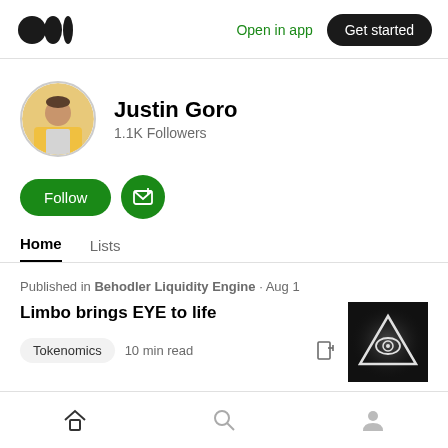Open in app  Get started
Justin Goro
1.1K Followers
Follow
Home  Lists
Published in Behodler Liquidity Engine · Aug 1
Limbo brings EYE to life
Tokenomics  10 min read
[Figure (photo): Article thumbnail: illuminati eye triangle symbol on dark background]
Home  Search  Profile